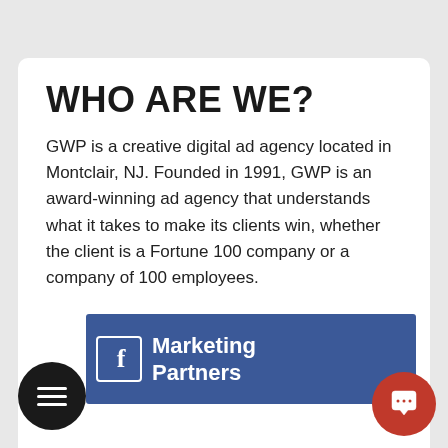WHO ARE WE?
GWP is a creative digital ad agency located in Montclair, NJ. Founded in 1991, GWP is an award-winning ad agency that understands what it takes to make its clients win, whether the client is a Fortune 100 company or a company of 100 employees.
[Figure (logo): Facebook Marketing Partners banner — blue rectangle with Facebook 'f' icon on the left and white text 'Marketing Partners' on the right]